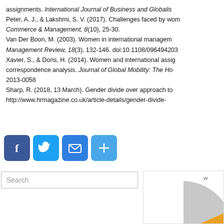assignments. International Journal of Business and Globalis...
Peter, A. J., & Lakshmi, S. V. (2017). Challenges faced by wom... Commerce & Management, 8(10), 25-30.
Van Der Boon, M. (2003). Women in international managem... Management Review, 18(3), 132-146. doi:10.1108/096494203...
Xavier, S., & Doris, H. (2014). Women and international assig... correspondence analysis. Journal of Global Mobility: The Ho... 2013-0058
Sharp, R. (2018, 13 March). Gender divide over approach to... http://www.hrmagazine.co.uk/article-details/gender-divide-
[Figure (other): Social media sharing buttons: Facebook, Twitter, Email, Share/More]
[Figure (other): Search input box]
[Figure (pie-chart): Partial pie chart visible in bottom-right corner]